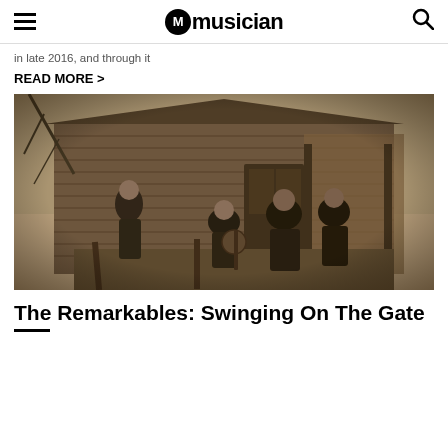musician
in late 2016, and through it
READ MORE >
[Figure (photo): Sepia-toned vintage photograph of musicians playing on a wooden porch of a rustic clapboard building. Several figures are visible including one playing what appears to be a banjo, others gathered around in period clothing.]
The Remarkables: Swinging On The Gate